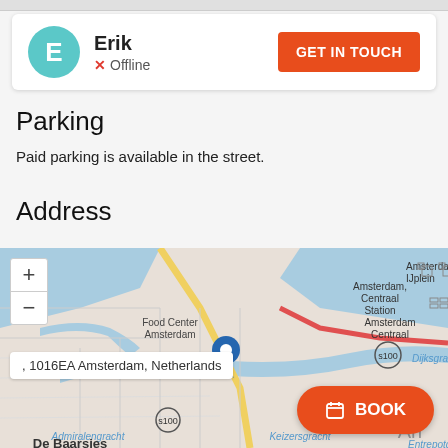Erik
Offline
GET IN TOUCH
Parking
Paid parking is available in the street.
Address
[Figure (map): Interactive street map of Amsterdam centered near Amsterdam Centraal Station, showing Food Center Amsterdam, Admiralengracht, Keizersgracht, De Baarsjes, Dijksgracht, Amsterdam IJplein, Amsterdam Centraal labels and s100 route markers, with a blue location pin marker]
, 1016EA Amsterdam, Netherlands
BOOK